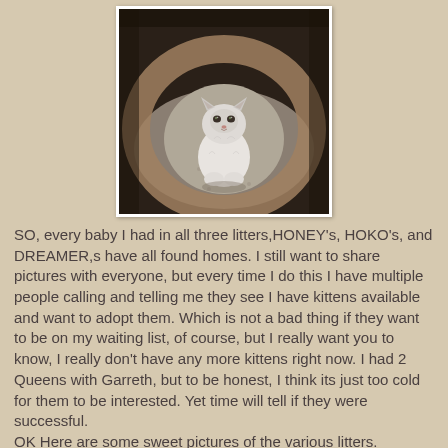[Figure (photo): A small white fluffy kitten sitting on a carpet, photographed from above with a curved cat bed or cushion surrounding it. The image has a white border.]
SO,  every baby I had in all three litters,HONEY's,  HOKO's, and  DREAMER,s have all found homes.  I still want to share pictures with everyone, but every time I  do this I have multiple people calling and telling me they  see I have kittens available and want to adopt them.  Which is not a bad thing if they want to be on my waiting list, of course, but I really want you to know, I really don't have any more kittens right now.  I had 2 Queens with Garreth, but to be honest, I think its just too cold for them to be interested.  Yet time will tell if they were successful.
OK Here are some sweet pictures of the various litters.